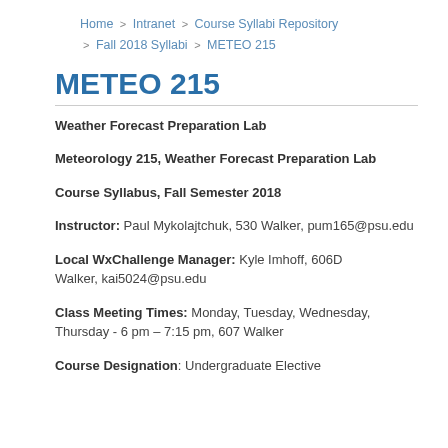Home > Intranet > Course Syllabi Repository > Fall 2018 Syllabi > METEO 215
METEO 215
Weather Forecast Preparation Lab
Meteorology 215, Weather Forecast Preparation Lab
Course Syllabus, Fall Semester 2018
Instructor: Paul Mykolajtchuk, 530 Walker, pum165@psu.edu
Local WxChallenge Manager: Kyle Imhoff, 606D Walker, kai5024@psu.edu
Class Meeting Times: Monday, Tuesday, Wednesday, Thursday - 6 pm – 7:15 pm, 607 Walker
Course Designation: Undergraduate Elective